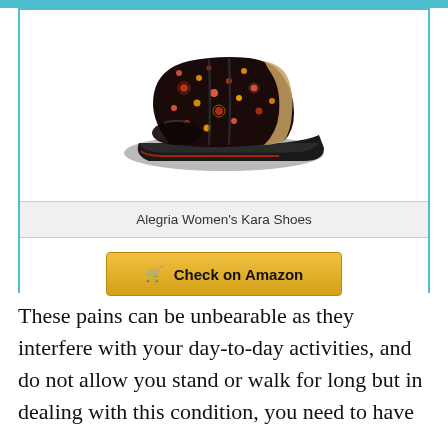[Figure (photo): A dark floral-patterned slip-on clog shoe (Alegria Women's Kara Shoes) with a thick black sole, shown on a white background.]
Alegria Women's Kara Shoes
These pains can be unbearable as they interfere with your day-to-day activities, and do not allow you stand or walk for long but in dealing with this condition, you need to have